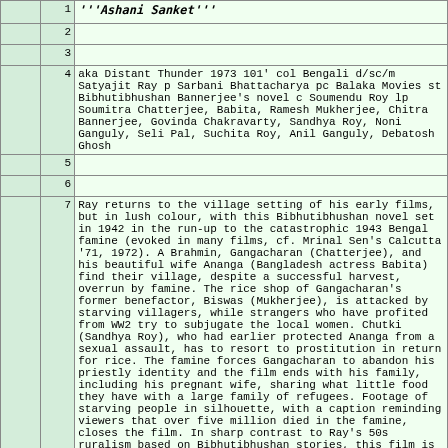| col1 | row | content |
| --- | --- | --- |
|  | 1 | '''Ashani Sanket''' |
|  | 2 |  |
|  | 3 |  |
|  | 4 | aka Distant Thunder 1973 101' col Bengali d/sc/m Satyajit Ray p Sarbani Bhattacharya pc Balaka Movies st Bibhutibhushan Bannerjee's novel c Soumendu Roy lp Soumitra Chatterjee, Babita, Ramesh Mukherjee, Chitra Bannerjee, Govinda Chakravarty, Sandhya Roy, Noni Ganguly, Seli Pal, Suchita Roy, Anil Ganguly, Debatosh Ghosh |
|  | 5 |  |
|  | 6 |  |
|  | 7 | Ray returns to the village setting of his early films, but in lush colour, with this Bibhutibhushan novel set in 1942 in the run-up to the catastrophic 1943 Bengal famine (evoked in many films, cf. Mrinal Sen's Calcutta '71, 1972). A Brahmin, Gangacharan (Chatterjee), and his beautiful wife Ananga (Bangladesh actress Babita) find their village, despite a successful harvest, overrun by famine. The rice shop of Gangacharan's former benefactor, Biswas (Mukherjee), is attacked by starving villagers, while strangers who have profited from WW2 try to subjugate the local women. Chutki (Sandhya Roy), who had earlier protected Ananga from a sexual assault, has to resort to prostitution in return for rice. The famine forces Gangacharan to abandon his priestly identity and the film ends with his family, including his pregnant wife, sharing what little food they have with a large family of refugees. Footage of starving people in silhouette, with a caption reminding viewers that over five million died in the famine, closes the film. In sharp contrast to Ray's 50s ruralism based on Bibhutibhushan stories, this film is closer to Benegal's Ankur (also 1972) in its use... |